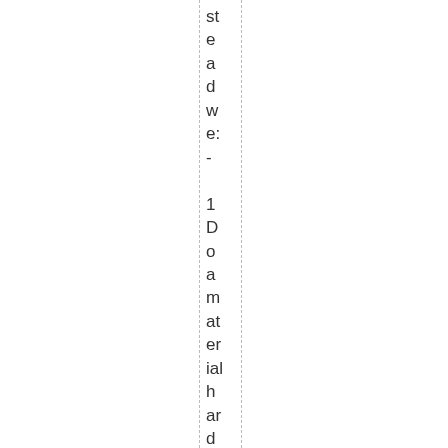steadwe: - 1 Do amaterial hardness test to determin